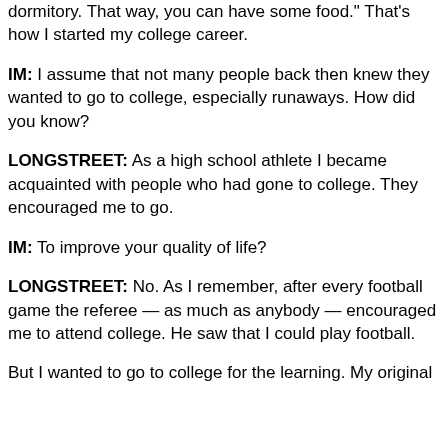dormitory. That way, you can have some food." That's how I started my college career.
IM: I assume that not many people back then knew they wanted to go to college, especially runaways. How did you know?
LONGSTREET: As a high school athlete I became acquainted with people who had gone to college. They encouraged me to go.
IM: To improve your quality of life?
LONGSTREET: No. As I remember, after every football game the referee — as much as anybody — encouraged me to attend college. He saw that I could play football.
But I wanted to go to college for the learning. My original